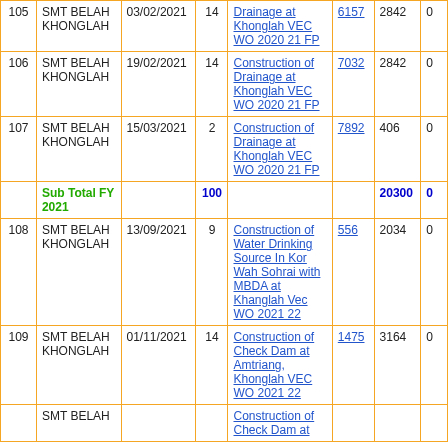| # | Name | Date | No. | Description | Ref | Amount | Extra |
| --- | --- | --- | --- | --- | --- | --- | --- |
| 105 | SMT BELAH KHONGLAH | 03/02/2021 | 14 | Drainage at Khonglah VEC WO 2020 21 FP | 6157 | 2842 | 0 |
| 106 | SMT BELAH KHONGLAH | 19/02/2021 | 14 | Construction of Drainage at Khonglah VEC WO 2020 21 FP | 7032 | 2842 | 0 |
| 107 | SMT BELAH KHONGLAH | 15/03/2021 | 2 | Construction of Drainage at Khonglah VEC WO 2020 21 FP | 7892 | 406 | 0 |
|  | Sub Total FY 2021 |  | 100 |  |  | 20300 | 0 |
| 108 | SMT BELAH KHONGLAH | 13/09/2021 | 9 | Construction of Water Drinking Source In Kor Wah Sohrai with MBDA at Khanglah Vec WO 2021 22 | 556 | 2034 | 0 |
| 109 | SMT BELAH KHONGLAH | 01/11/2021 | 14 | Construction of Check Dam at Amtriang, Khonglah VEC WO 2021 22 | 1475 | 3164 | 0 |
|  | SMT BELAH |  |  | Construction of Check Dam at |  |  |  |